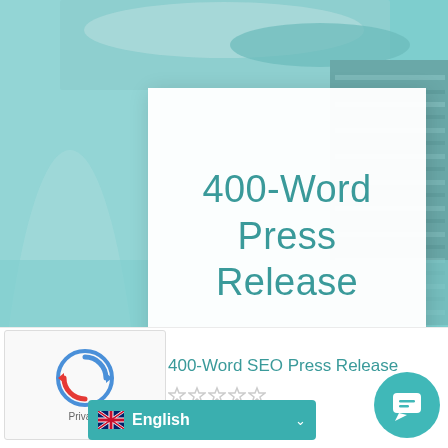[Figure (photo): Teal/cyan toned background photo of stacked newspapers filling the upper portion of the page]
400-Word Press Release
400-Word SEO Press Release
[Figure (other): Star rating widget showing 5 empty/outline stars]
[Figure (other): Language selector dropdown showing UK flag and 'English']
[Figure (other): reCAPTCHA badge with Privacy label]
[Figure (other): Teal circular chat bubble button in bottom right corner]